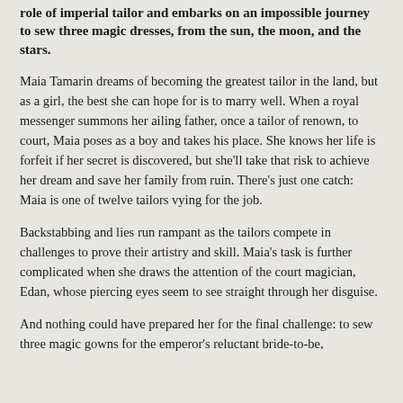role of imperial tailor and embarks on an impossible journey to sew three magic dresses, from the sun, the moon, and the stars.
Maia Tamarin dreams of becoming the greatest tailor in the land, but as a girl, the best she can hope for is to marry well. When a royal messenger summons her ailing father, once a tailor of renown, to court, Maia poses as a boy and takes his place. She knows her life is forfeit if her secret is discovered, but she'll take that risk to achieve her dream and save her family from ruin. There's just one catch: Maia is one of twelve tailors vying for the job.
Backstabbing and lies run rampant as the tailors compete in challenges to prove their artistry and skill. Maia's task is further complicated when she draws the attention of the court magician, Edan, whose piercing eyes seem to see straight through her disguise.
And nothing could have prepared her for the final challenge: to sew three magic gowns for the emperor's reluctant bride-to-be,